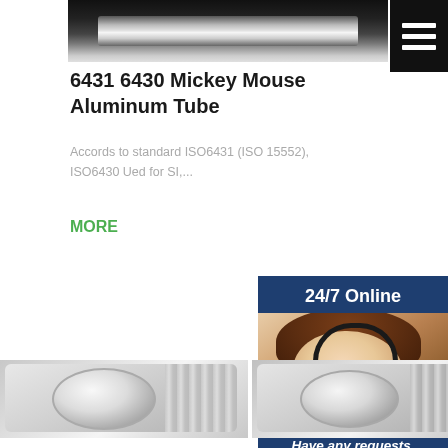[Figure (photo): Photo of aluminum tube product (Mickey Mouse / ISO6431 tube) against dark background]
[Figure (other): Hamburger menu button, dark background with three white horizontal lines]
6431 6430 Mickey Mouse Aluminum Tube
Accords to standard ISO6431 (ISO 15552), ISO6430 Ued for SI,...
MORE
[Figure (other): 24/7 Online banner with blue background]
[Figure (photo): Customer service agent (woman with headset) photo]
Have any requests, click here.
Quotation
[Figure (photo): 42Crmo4 Hollow Piston Rod product photo — silver machined aluminum block with circular bore]
42Crmo4 Hollow Piston Rod Durable Singapore
齐 齐 [联系] 我们联系我们>> 联系联系查看联系联系
[Figure (photo): Djibouti Pneumatic Cylinder Tubing Sale Bicycle product photo — silver machined aluminum block with circular bore]
Djibouti Pneumatic Cylinder Tubing Sale Bicycle
Air Preparation Equipment...